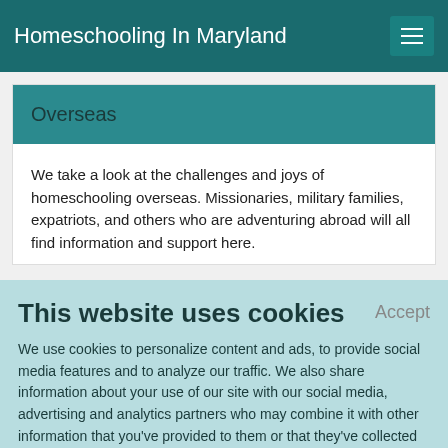Homeschooling In Maryland
Overseas
We take a look at the challenges and joys of homeschooling overseas. Missionaries, military families, expatriots, and others who are adventuring abroad will all find information and support here.
This website uses cookies
We use cookies to personalize content and ads, to provide social media features and to analyze our traffic. We also share information about your use of our site with our social media, advertising and analytics partners who may combine it with other information that you've provided to them or that they've collected from your use of their services.
Learn More.